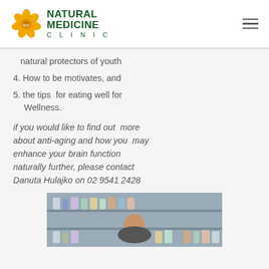[Figure (logo): Natural Medicine Clinic logo with orange flower and green text]
natural protectors of youth
4. How to be motivates, and
5. the tips  for eating well for Wellness.
if you would like to find out  more about anti-aging and how you  may enhance your brain function naturally further, please contact Danuta Hulajko on 02 9541 2428
[Figure (photo): Woman standing behind a counter with shelves of supplement bottles]